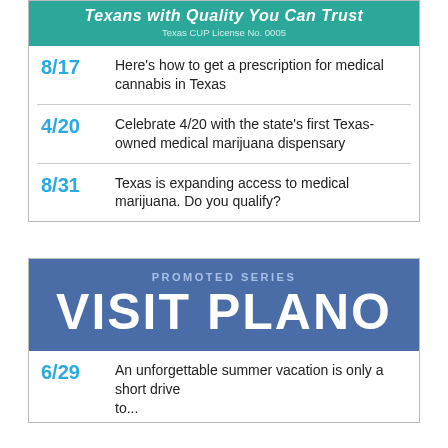Texans with Quality You Can Trust
Texas CUP License No. 0005
8/17 Here's how to get a prescription for medical cannabis in Texas
4/20 Celebrate 4/20 with the state's first Texas-owned medical marijuana dispensary
8/31 Texas is expanding access to medical marijuana. Do you qualify?
PROMOTED SERIES VISIT PLANO
6/29 An unforgettable summer vacation is only a short drive